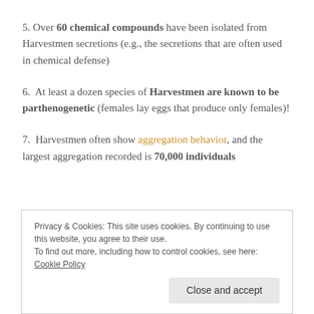5. Over 60 chemical compounds have been isolated from Harvestmen secretions (e.g., the secretions that are often used in chemical defense)
6. At least a dozen species of Harvestmen are known to be parthenogenetic (females lay eggs that produce only females)!
7. Harvestmen often show aggregation behavior, and the largest aggregation recorded is 70,000 individuals
Privacy & Cookies: This site uses cookies. By continuing to use this website, you agree to their use. To find out more, including how to control cookies, see here: Cookie Policy